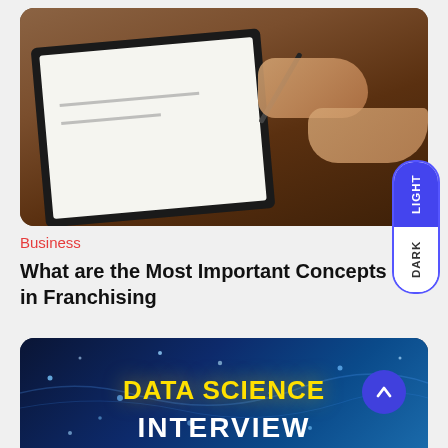[Figure (photo): Two people at a table with a clipboard document being signed with a pen, on a wooden surface. Business/legal signing context.]
Business
What are the Most Important Concepts in Franchising
[Figure (photo): Dark blue technology background with particles and glowing effects, with bold yellow text reading 'DATA SCIENCE' and white text reading 'INTERVIEW' at the bottom. A blue circular up-arrow button is visible on the right.]